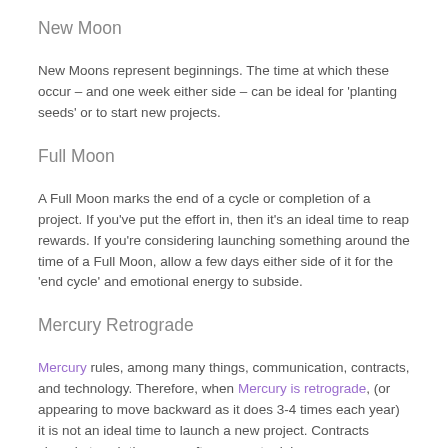New Moon
New Moons represent beginnings. The time at which these occur – and one week either side – can be ideal for 'planting seeds' or to start new projects.
Full Moon
A Full Moon marks the end of a cycle or completion of a project. If you've put the effort in, then it's an ideal time to reap rewards. If you're considering launching something around the time of a Full Moon, allow a few days either side of it for the 'end cycle' and emotional energy to subside.
Mercury Retrograde
Mercury rules, among many things, communication, contracts, and technology. Therefore, when Mercury is retrograde, (or appearing to move backward as it does 3-4 times each year) it is not an ideal time to launch a new project. Contracts signed at such times are often prone to delays or terminations. Essential information often